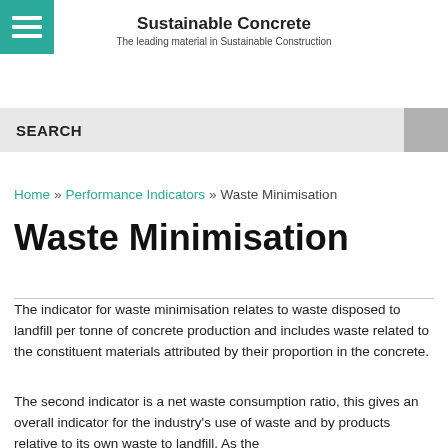[Figure (other): Green hamburger menu icon in top-left corner]
Sustainable Concrete
The leading material in Sustainable Construction
SEARCH
Home » Performance Indicators » Waste Minimisation
Waste Minimisation
The indicator for waste minimisation relates to waste disposed to landfill per tonne of concrete production and includes waste related to the constituent materials attributed by their proportion in the concrete.
The second indicator is a net waste consumption ratio, this gives an overall indicator for the industry's use of waste and by products relative to its own waste to landfill. As the